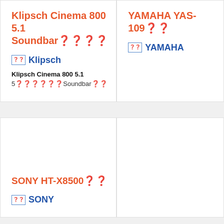Klipsch Cinema 800 5.1 Soundbar🔊🔊🔊🔊
🔊🔊 Klipsch
Klipsch Cinema 800 5.1
5🔊🔊🔊🔊🔊🔊Soundbar🔊🔊
YAMAHA YAS-109🔊🔊
🔊🔊 YAMAHA
SONY HT-X8500🔊🔊
🔊🔊 SONY